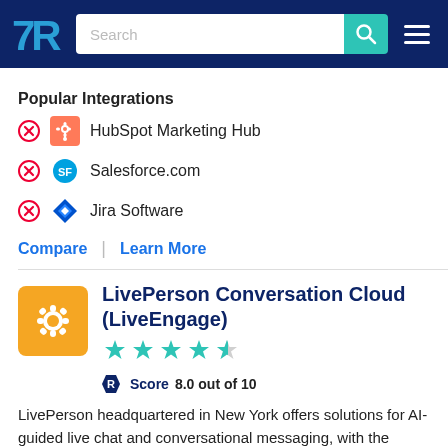TrustRadius – Search bar and navigation
Popular Integrations
HubSpot Marketing Hub
Salesforce.com
Jira Software
Compare | Learn More
LivePerson Conversation Cloud (LiveEngage)
TrustRadius Score 8.0 out of 10
LivePerson headquartered in New York offers solutions for AI-guided live chat and conversational messaging, with the Conversation Cloud (formerly LiveEngage),